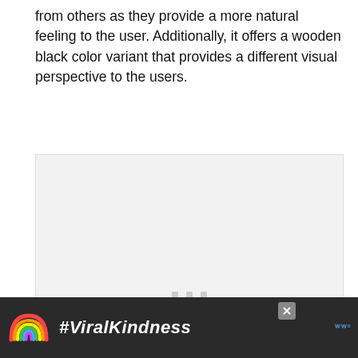from others as they provide a more natural feeling to the user. Additionally, it offers a wooden black color variant that provides a different visual perspective to the users.
[Figure (photo): Large light gray image placeholder box with three small gray square dots in the center, indicating a loading or missing image state.]
[Figure (infographic): Advertisement banner at the bottom with dark background showing a rainbow graphic and the text #ViralKindness in white italic bold font, with a close button and a logo mark on the right.]